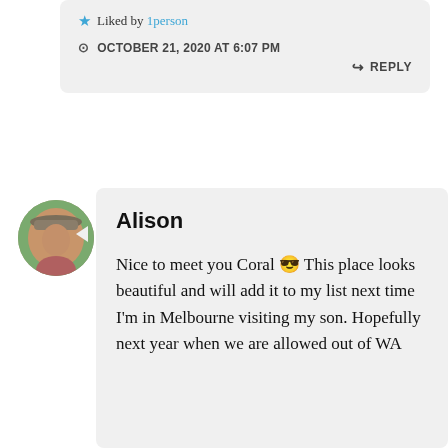Liked by 1person
OCTOBER 21, 2020 AT 6:07 PM
REPLY
Alison
[Figure (photo): Round avatar photo of a woman wearing a hat, outdoors]
Nice to meet you Coral 😎 This place looks beautiful and will add it to my list next time I'm in Melbourne visiting my son. Hopefully next year when we are allowed out of WA